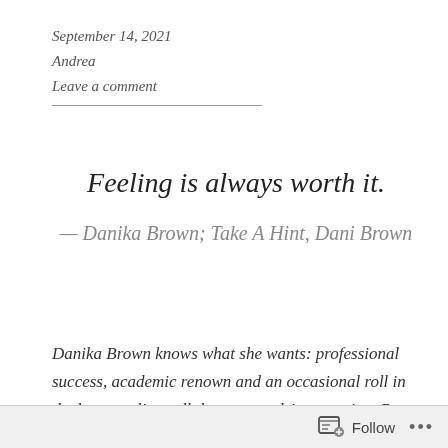September 14, 2021
Andrea
Leave a comment
Feeling is always worth it.
— Danika Brown; Take A Hint, Dani Brown
Danika Brown knows what she wants: professional success, academic renown and an occasional roll in the hay to relieve all that career-driven tension. But romance? Been there, done that, burned the T-shirt. So Dani asks the universe for the perfect friend-with-
Follow ...